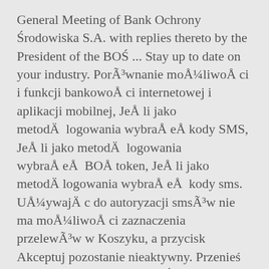General Meeting of Bank Ochrony Środowiska S.A. with replies thereto by the President of the BOŚ ... Stay up to date on your industry. PorÃ³wnanie moÅ¼liwoÅ ci i funkcji bankowoÅ ci internetowej i aplikacji mobilnej, JeÅ li jako metodÄ logowania wybraÅ eÅ kody SMS, JeÅ li jako metodÄ logowania wybraÅ eÅ BOÅ token, JeÅ li jako metodÄ logowania wybraÅ eÅ kody sms. UÅ¼ywajÄ c do autoryzacji smsÃ³w nie ma moÅ¼liwoÅ ci zaznaczenia przelewÃ³w w Koszyku, a przycisk Akceptuj pozostanie nieaktywny. Przenieś łatwo konto osobiste do BOŚ Banku. Korzystamy z następujących źródeł informacji: GPW, Notoria Serwis, PAP, IPK Info-PP, Macronext. © 2020 Alior Bank SA Ten serwis